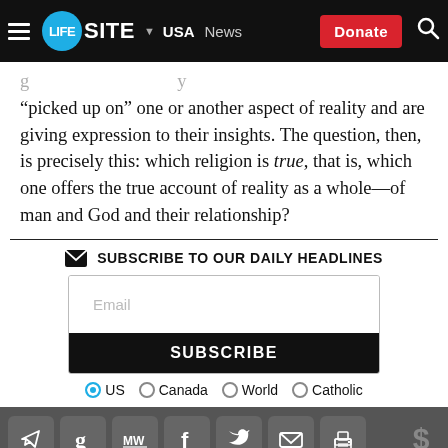LifeSite News — USA | News | Donate
“picked up on” one or another aspect of reality and are giving expression to their insights. The question, then, is precisely this: which religion is true, that is, which one offers the true account of reality as a whole—of man and God and their relationship?
SUBSCRIBE TO OUR DAILY HEADLINES
Email
SUBSCRIBE
US  Canada  World  Catholic